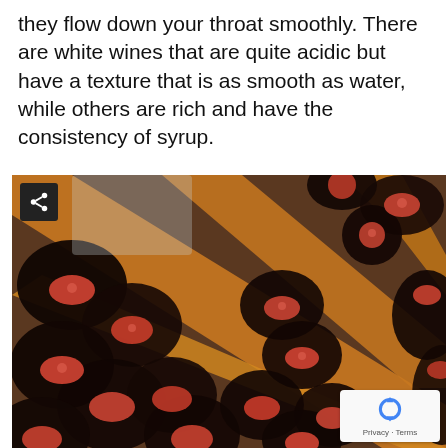they flow down your throat smoothly. There are white wines that are quite acidic but have a texture that is as smooth as water, while others are rich and have the consistency of syrup.
[Figure (photo): Wine bottles stored horizontally in a wooden X-shaped wine rack, viewed from above at an angle. The bottles have red foil caps. An orange/wood-colored diagonal rack structure divides the image. A share icon button is visible in the top-left corner. A reCAPTCHA badge is in the bottom-right corner showing 'Privacy · Terms'.]